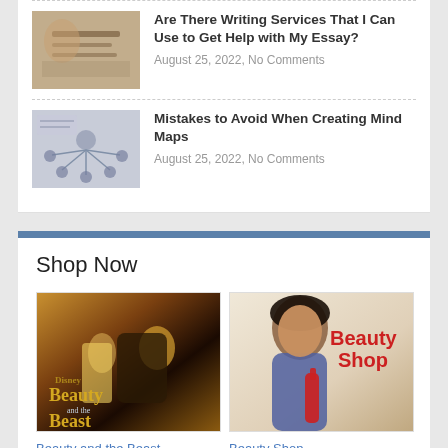[Figure (photo): Article thumbnail showing hands writing on paper]
Are There Writing Services That I Can Use to Get Help with My Essay?
August 25, 2022, No Comments
[Figure (photo): Article thumbnail showing hands creating a mind map]
Mistakes to Avoid When Creating Mind Maps
August 25, 2022, No Comments
Shop Now
[Figure (photo): Movie poster for Beauty and the Beast (2017 film)]
Beauty and the Beast (Theatrical Version)
[Figure (photo): Movie poster for Beauty Shop featuring Queen Latifah]
Beauty Shop